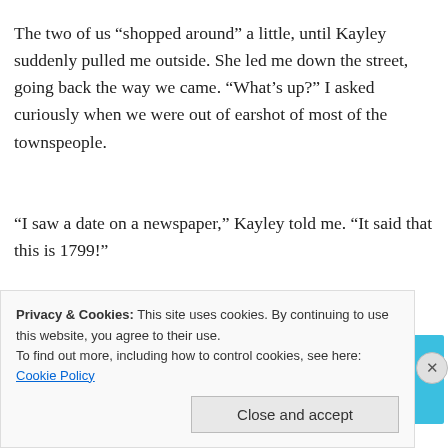The two of us “shopped around” a little, until Kayley suddenly pulled me outside. She led me down the street, going back the way we came. “What’s up?” I asked curiously when we were out of earshot of most of the townspeople.
“I saw a date on a newspaper,” Kayley told me. “It said that this is 1799!”
[Figure (infographic): Day One journaling app advertisement on a blue background with icons and tagline 'The only journaling app you’ll ever need.']
“Really?” I asked, astonished.
Privacy & Cookies: This site uses cookies. By continuing to use this website, you agree to their use.
To find out more, including how to control cookies, see here: Cookie Policy
Close and accept